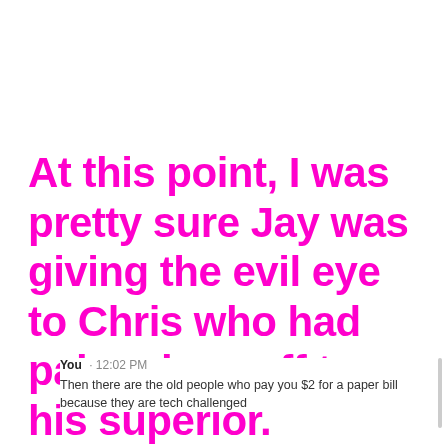At this point, I was pretty sure Jay was giving the evil eye to Chris who had palmed me off to his superior.
You · 12:02 PM
Then there are the old people who pay you $2 for a paper bill because they are tech challenged